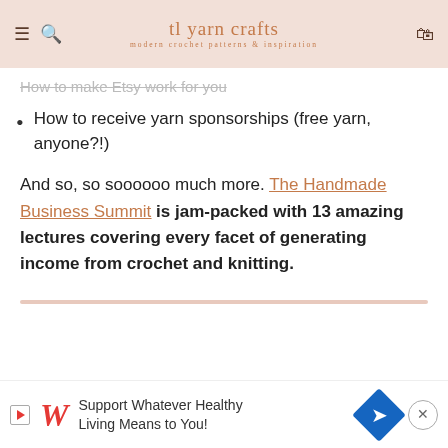tl yarn crafts — modern crochet patterns & inspiration
How to make Etsy work for you
How to receive yarn sponsorships (free yarn, anyone?!)
And so, so soooooo much more. The Handmade Business Summit is jam-packed with 13 amazing lectures covering every facet of generating income from crochet and knitting.
[Figure (other): Walgreens advertisement banner: 'Support Whatever Healthy Living Means to You!']